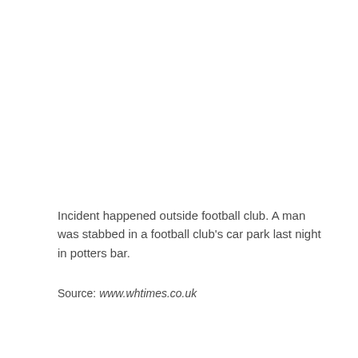Incident happened outside football club. A man was stabbed in a football club's car park last night in potters bar.
Source: www.whtimes.co.uk